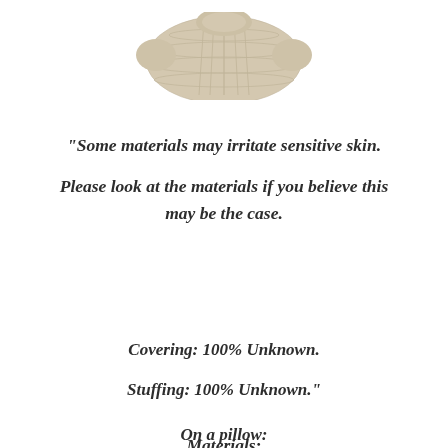[Figure (photo): A cream/beige knitted item (appears to be a small sweater or pillow cover) photographed from above on a white background, partially cropped at top of page.]
“Some materials may irritate sensitive skin.

Please look at the materials if you believe this may be the case.

Materials:

Covering: 100% Unknown.

Stuffing: 100% Unknown.”
On a pillow: